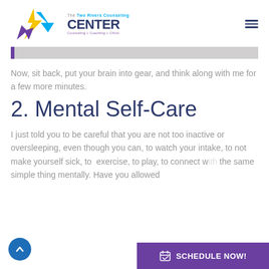[Figure (logo): The Two Rivers Counseling Center logo with arrow/chevron graphic in yellow and purple, text reading 'The Two Rivers Counseling CENTER, Counseling + Coaching + Christ']
Now, sit back, put your brain into gear, and think along with me for a few more minutes.
2. Mental Self-Care
I just told you to be careful that you are not too inactive or oversleeping, even though you can, to watch your intake, to not make yourself sick, to exercise, to play, to connect with the same simple thing mentally. Have you allowed